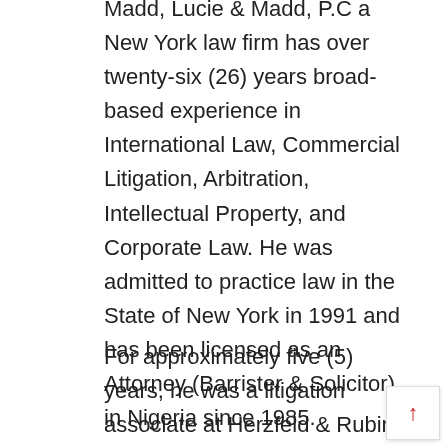Madd, Lucie & Madd, P.C a New York law firm has over twenty-six (26) years broad-based experience in International Law, Commercial Litigation, Arbitration, Intellectual Property, and Corporate Law. He was admitted to practice law in the State of New York in 1991 and has been licensed as an Attorney (Barrister & Solicitor) in Nigeria since 1985.
For approximately five (5) years, he was a litigation associate at Herzfeld & Rubin, a Wall Street-based firm, where his responsibilities included defending the New York City Housing Authority, General Motors Corporation, The Chrysler Corporation, Ford Motors Corporation, Volkswagen of America Inc and American Laundry, Inc in a number of cases